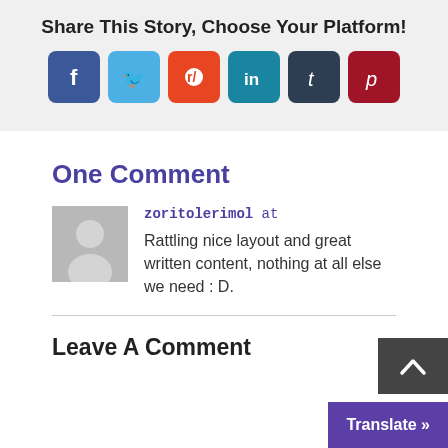Share This Story, Choose Your Platform!
[Figure (illustration): Six social media sharing icons: Facebook (dark blue), Twitter (light blue), Reddit (orange-red), LinkedIn (teal), Tumblr (dark navy), Pinterest (dark red)]
One Comment
[Figure (illustration): Gray avatar placeholder icon showing a person silhouette]
zoritolerimol at
Rattling nice layout and great written content, nothing at all else we need : D.
Leave A Comment